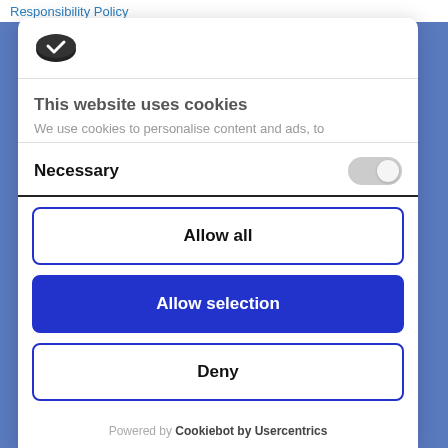Responsibility Policy
[Figure (logo): Cookie consent logo - dark oval cookie icon with check mark]
This website uses cookies
We use cookies to personalise content and ads, to
Necessary
Allow all
Allow selection
Deny
Powered by Cookiebot by Usercentrics